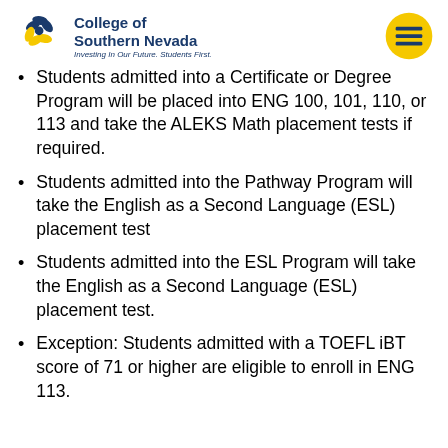College of Southern Nevada — Investing In Our Future. Students First.
Students admitted into a Certificate or Degree Program will be placed into ENG 100, 101, 110, or 113 and take the ALEKS Math placement tests if required.
Students admitted into the Pathway Program will take the English as a Second Language (ESL) placement test
Students admitted into the ESL Program will take the English as a Second Language (ESL) placement test.
Exception: Students admitted with a TOEFL iBT score of 71 or higher are eligible to enroll in ENG 113.